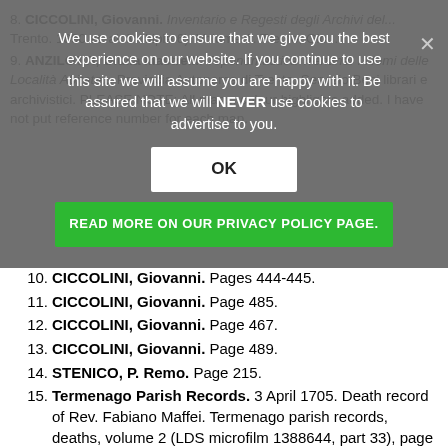[Figure (screenshot): Cookie consent overlay modal with OK button and green Read More on Our Privacy Policy Page button, overlaid on a greyed-out background showing items 8 and 9 of a bibliography list]
10. CICCOLINI, Giovanni. Pages 444-445.
11. CICCOLINI, Giovanni. Page 485.
12. CICCOLINI, Giovanni. Page 467.
13. CICCOLINI, Giovanni. Page 489.
14. STENICO, P. Remo. Page 215.
15. Termenago Parish Records. 3 April 1705. Death record of Rev. Fabiano Maffei. Termenago parish records, deaths, volume 2 (LDS microfilm 1388644, part 33), page 14-15. The beginning of that volume of death records has a list of the starting page of all the country registers of T...